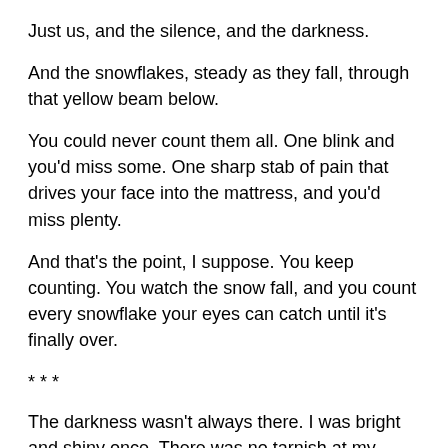Just us, and the silence, and the darkness.
And the snowflakes, steady as they fall, through that yellow beam below.
You could never count them all. One blink and you'd miss some. One sharp stab of pain that drives your face into the mattress, and you'd miss plenty.
And that's the point, I suppose. You keep counting. You watch the snow fall, and you count every snowflake your eyes can catch until it's finally over.
* * *
The darkness wasn't always there. I was bright and shiny once. There was no tarnish at my edges, no very bad thing that existed inside me. I had a mother, and a boyfriend, and a life. I was loved. I had plans and goals and aspirations.